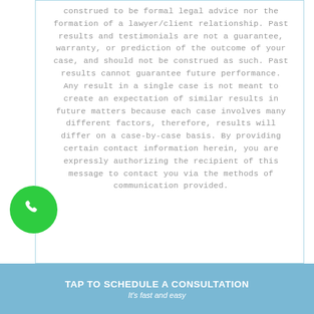construed to be formal legal advice nor the formation of a lawyer/client relationship. Past results and testimonials are not a guarantee, warranty, or prediction of the outcome of your case, and should not be construed as such. Past results cannot guarantee future performance. Any result in a single case is not meant to create an expectation of similar results in future matters because each case involves many different factors, therefore, results will differ on a case-by-case basis. By providing certain contact information herein, you are expressly authorizing the recipient of this message to contact you via the methods of communication provided.
[Figure (other): Green circular phone/call button icon]
TAP TO SCHEDULE A CONSULTATION
It's fast and easy